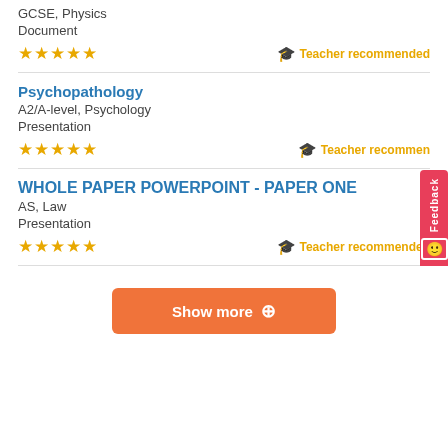GCSE, Physics
Document
★★★★★  Teacher recommended
Psychopathology
A2/A-level, Psychology
Presentation
★★★★★  Teacher recommended
WHOLE PAPER POWERPOINT - PAPER ONE
AS, Law
Presentation
★★★★★  Teacher recommended
Show more +